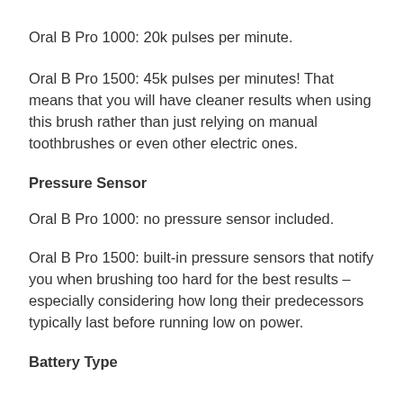Oral B Pro 1000: 20k pulses per minute.
Oral B Pro 1500: 45k pulses per minutes! That means that you will have cleaner results when using this brush rather than just relying on manual toothbrushes or even other electric ones.
Pressure Sensor
Oral B Pro 1000: no pressure sensor included.
Oral B Pro 1500: built-in pressure sensors that notify you when brushing too hard for the best results – especially considering how long their predecessors typically last before running low on power.
Battery Type